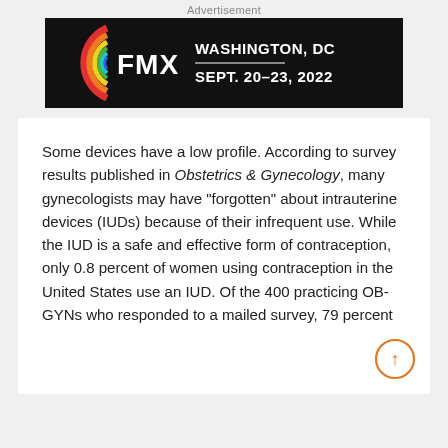Advertisement
[Figure (illustration): FMX advertisement banner with colorful concentric rings logo on black background. Text reads: FMX WASHINGTON, DC SEPT. 20-23, 2022]
Some devices have a low profile. According to survey results published in Obstetrics & Gynecology, many gynecologists may have “forgotten” about intrauterine devices (IUDs) because of their infrequent use. While the IUD is a safe and effective form of contraception, only 0.8 percent of women using contraception in the United States use an IUD. Of the 400 practicing OB-GYNs who responded to a mailed survey, 79 percent